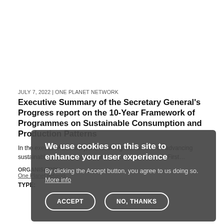JULY 7, 2022  |  ONE PLANET NETWORK
Executive Summary of the Secretary General's Progress report on the 10-Year Framework of Programmes on Sustainable Consumption and Production Patterns
In the executive summary, the following four actions on advancing sustainable consumption and production are presented. First…
ORGANISATION:
One Planet network
TYPE:
[Figure (other): Cookie consent overlay dialog with title 'We use cookies on this site to enhance your user experience', body text 'By clicking the Accept button, you agree to us doing so. More info', and two buttons: ACCEPT and NO, THANKS]